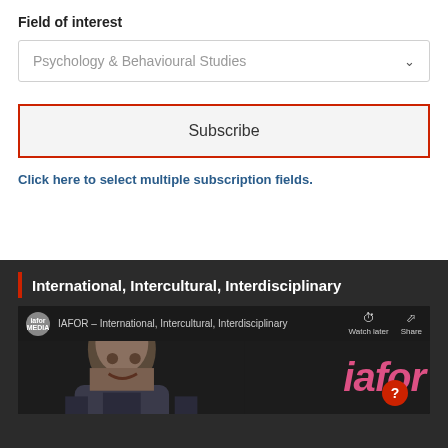Field of interest
[Figure (screenshot): Dropdown selector showing 'Psychology & Behavioural Studies']
[Figure (screenshot): Subscribe button with red border]
Click here to select multiple subscription fields.
International, Intercultural, Interdisciplinary
[Figure (screenshot): YouTube-style video thumbnail for IAFOR - International, Intercultural, Interdisciplinary with man speaking and iafor watermark in pink]